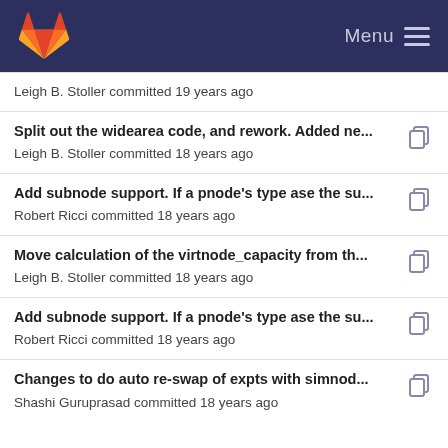GitLab Menu
Leigh B. Stoller committed 19 years ago
Split out the widearea code, and rework. Added ne... — Leigh B. Stoller committed 18 years ago
Add subnode support. If a pnode's type ase the su... — Robert Ricci committed 18 years ago
Move calculation of the virtnode_capacity from th... — Leigh B. Stoller committed 18 years ago
Add subnode support. If a pnode's type ase the su... — Robert Ricci committed 18 years ago
Changes to do auto re-swap of expts with simnod... — Shashi Guruprasad committed 18 years ago
Hack to fix a hack - make sure there's and OSID b... — Robert Ricci committed 14 years ago